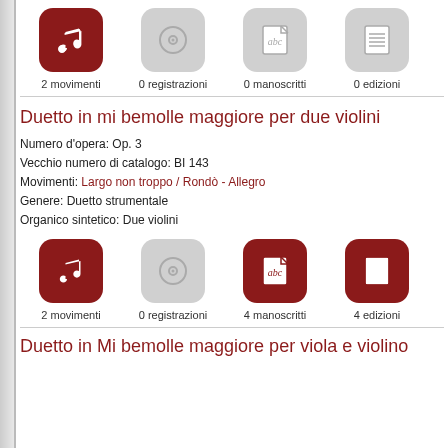[Figure (infographic): Row of 4 icons: music note (dark red), disc (gray), abc text (gray), document (gray) with labels: 2 movimenti, 0 registrazioni, 0 manoscritti, 0 edizioni]
Duetto in mi bemolle maggiore per due violini
Numero d'opera: Op. 3
Vecchio numero di catalogo: BI 143
Movimenti: Largo non troppo / Rondò - Allegro
Genere: Duetto strumentale
Organico sintetico: Due violini
[Figure (infographic): Row of 4 icons: music note (dark red), disc (gray), abc text (dark red), document (dark red) with labels: 2 movimenti, 0 registrazioni, 4 manoscritti, 4 edizioni]
Duetto in Mi bemolle maggiore per viola e violino